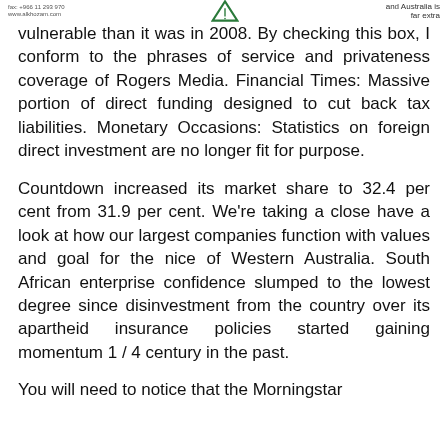fax: +966 11 293 970 / www.alkhozam.com  [logo]  and Australia is far extra
vulnerable than it was in 2008. By checking this box, I conform to the phrases of service and privateness coverage of Rogers Media. Financial Times: Massive portion of direct funding designed to cut back tax liabilities. Monetary Occasions: Statistics on foreign direct investment are no longer fit for purpose.
Countdown increased its market share to 32.4 per cent from 31.9 per cent. We're taking a close have a look at how our largest companies function with values and goal for the nice of Western Australia. South African enterprise confidence slumped to the lowest degree since disinvestment from the country over its apartheid insurance policies started gaining momentum 1 / 4 century in the past.
You will need to notice that the Morningstar information is subject to